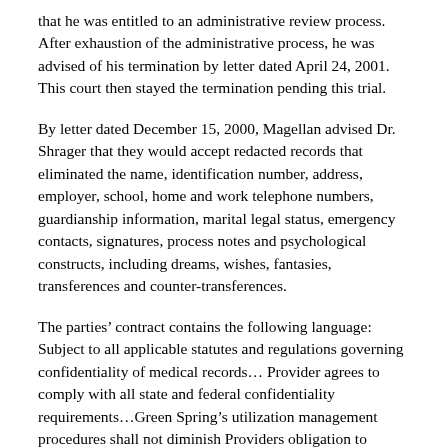that he was entitled to an administrative review process. After exhaustion of the administrative process, he was advised of his termination by letter dated April 24, 2001. This court then stayed the termination pending this trial.
By letter dated December 15, 2000, Magellan advised Dr. Shrager that they would accept redacted records that eliminated the name, identification number, address, employer, school, home and work telephone numbers, guardianship information, marital legal status, emergency contacts, signatures, process notes and psychological constructs, including dreams, wishes, fantasies, transferences and counter-transferences.
The parties’ contract contains the following language: Subject to all applicable statutes and regulations governing confidentiality of medical records… Provider agrees to comply with all state and federal confidentiality requirements…Green Spring’s utilization management procedures shall not diminish Providers obligation to render health services consistent with the applicable standard of care.
The primary issue in this case is whether Dr. Shrager...